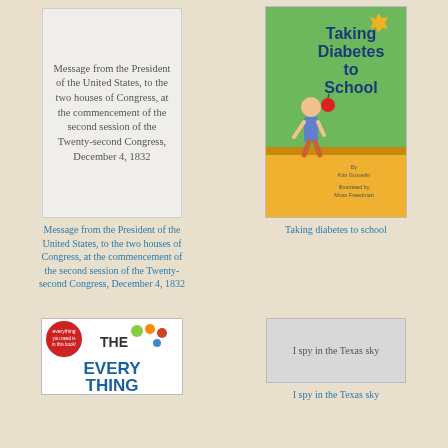[Figure (illustration): Book cover placeholder showing text: Message from the President of the United States, to the two houses of Congress, at the commencement of the second session of the Twenty-second Congress, December 4, 1832]
[Figure (illustration): Book cover for 'Taking Diabetes to School' showing a child with an apple near a school desk, illustrated children's book cover]
Message from the President of the United States, to the two houses of Congress, at the commencement of the second session of the Twenty-second Congress, December 4, 1832
Taking diabetes to school
[Figure (illustration): Book cover for 'The Everything' book, partially visible]
[Figure (illustration): Gray placeholder box for 'I spy in the Texas sky']
I spy in the Texas sky